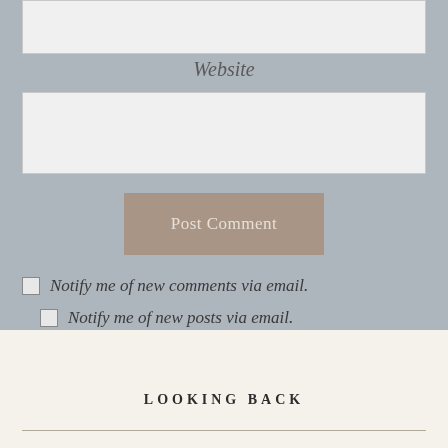Website
Post Comment
Notify me of new comments via email.
Notify me of new posts via email.
LOOKING BACK